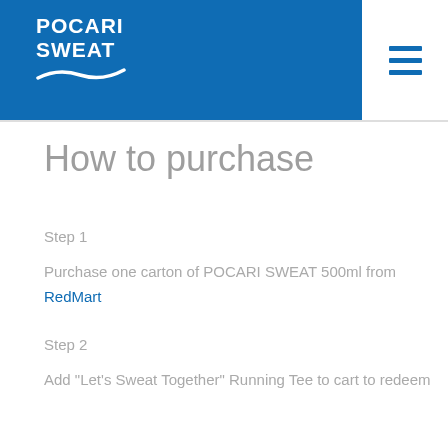POCARI SWEAT
How to purchase
Step 1
Purchase one carton of POCARI SWEAT 500ml from RedMart
Step 2
Add "Let's Sweat Together" Running Tee to cart to redeem